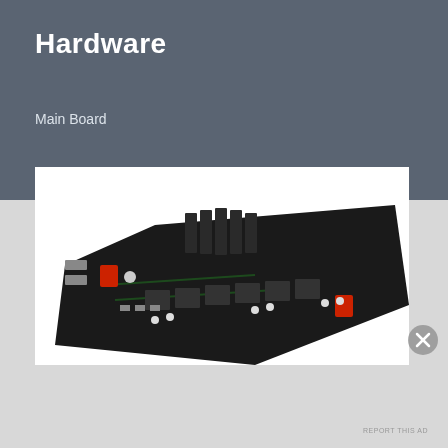Hardware
Main Board
[Figure (photo): Photo of a 3D printer main control board (PCB) shown at an angle, black circuit board with heat sink fins, red capacitors, and various electronic components and connectors.]
REPORT THIS AD